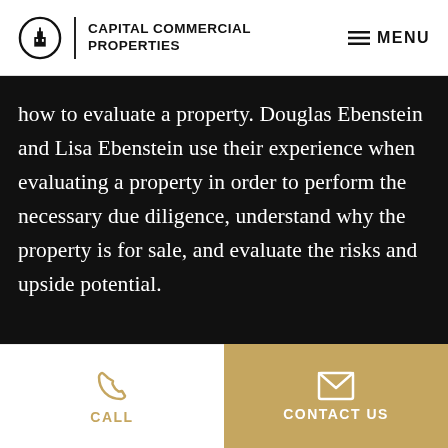[Figure (logo): Capital Commercial Properties logo with circular icon, vertical divider, and bold text]
MENU
how to evaluate a property. Douglas Ebenstein and Lisa Ebenstein use their experience when evaluating a property in order to perform the necessary due diligence, understand why the property is for sale, and evaluate the risks and upside potential.
[Figure (illustration): Phone icon for CALL action]
CALL
[Figure (illustration): Envelope icon for CONTACT US action]
CONTACT US